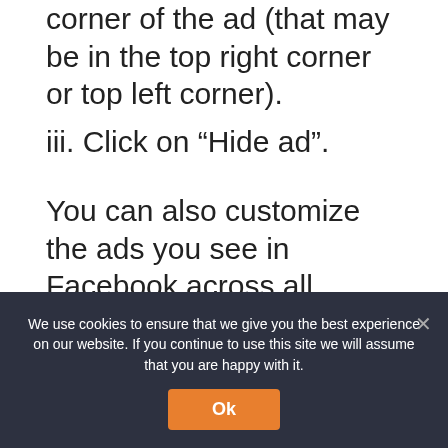corner of the ad (that may be in the top right corner or top left corner).
iii. Click on “Hide ad”.
You can also customize the ads you see in Facebook across all advertisers by using the following steps:
i. Log in to your Facebook account and click “settings”.
ii. Click on “Ads”.
iii. On that page you will see a list of
We use cookies to ensure that we give you the best experience on our website. If you continue to use this site we will assume that you are happy with it.